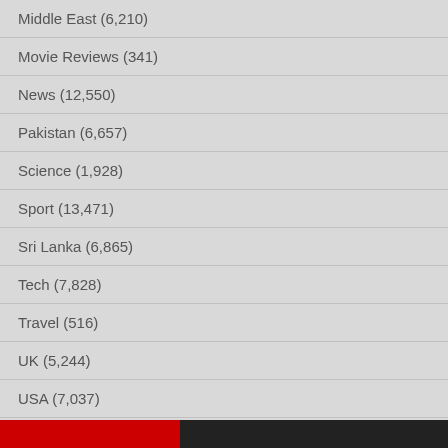Middle East (6,210)
Movie Reviews (341)
News (12,550)
Pakistan (6,657)
Science (1,928)
Sport (13,471)
Sri Lanka (6,865)
Tech (7,828)
Travel (516)
UK (5,244)
USA (7,037)
World (3,510)